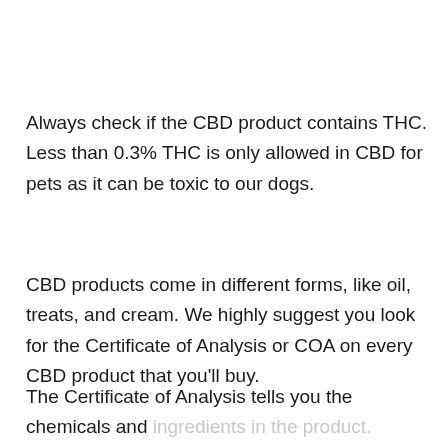Always check if the CBD product contains THC. Less than 0.3% THC is only allowed in CBD for pets as it can be toxic to our dogs.
CBD products come in different forms, like oil, treats, and cream. We highly suggest you look for the Certificate of Analysis or COA on every CBD product that you'll buy.
The Certificate of Analysis tells you the chemicals and ingredients in the product. Knowing all components, you can avoid potentially harmful ingredients for your dogs.